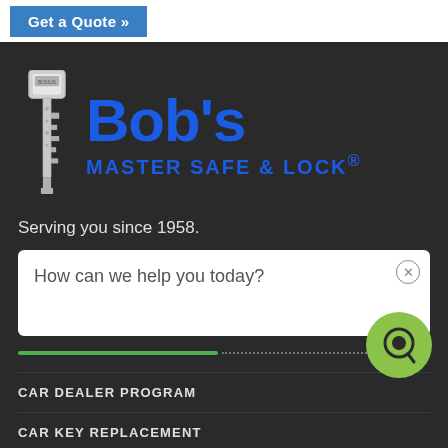[Figure (screenshot): Get a Quote button (blue) at the top of a locksmith website]
[Figure (logo): Bob's Master Safe & Lock logo with key icon and blue text on dark background]
Serving you since 1958.
How can we help you today?
CAR DEALER PROGRAM
CAR KEY REPLACEMENT
CONTACT US